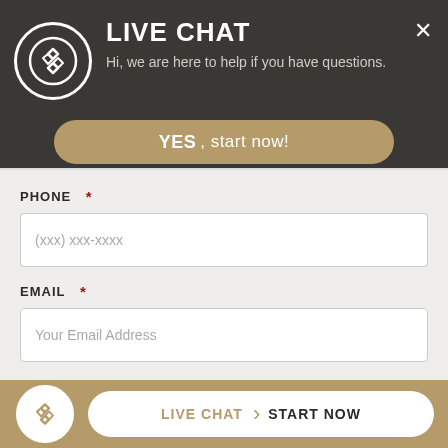[Figure (logo): Live chat widget header with circular logo containing chain-link icon, LIVE CHAT title, subtitle text, close button, and gold YES start now button]
LIVE CHAT
Hi, we are here to help if you have questions.
YES, start now!
PHONE *
(xxx) xxx-xxxx
EMAIL *
Your Email Address
WERE YOU INJURED *
YES
LIVE CHAT  START NOW